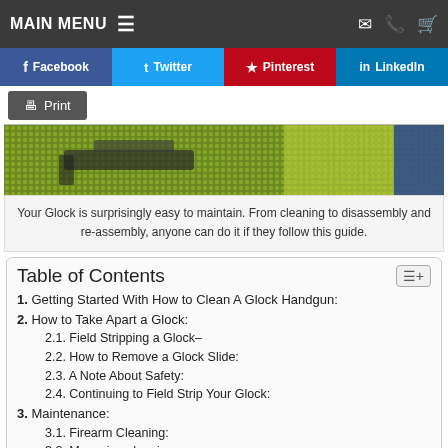MAIN MENU
Facebook
Twitter
Pinterest
LinkedIn
Print
[Figure (photo): Close-up photo of a Glock handgun on a textured green surface]
Your Glock is surprisingly easy to maintain. From cleaning to disassembly and re-assembly, anyone can do it if they follow this guide.
Table of Contents
1. Getting Started With How to Clean A Glock Handgun:
2. How to Take Apart a Glock:
2.1. Field Stripping a Glock–
2.2. How to Remove a Glock Slide:
2.3. A Note About Safety:
2.4. Continuing to Field Strip Your Glock:
3. Maintenance:
3.1. Firearm Cleaning:
3.2. Magazine cleaning:
3.3. Internal Components & Safety Checks: